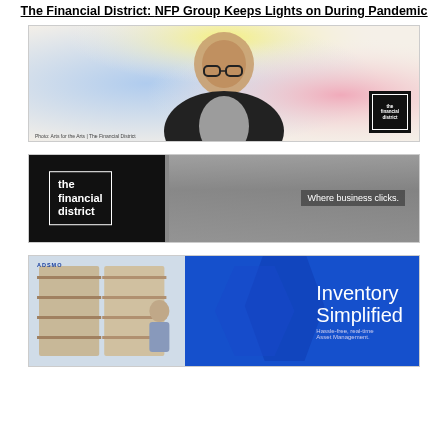The Financial District: NFP Group Keeps Lights on During Pandemic
[Figure (photo): Illustrated photo of an older Asian man smiling, wearing glasses and a dark vest, with a colorful halftone background of blue, yellow, and pink. Financial District logo badge in bottom-right corner.]
[Figure (photo): Banner ad for The Financial District. Left side is black with 'the financial district' logo in a white-bordered box. Right side shows blurred crowd of people walking, with tagline 'Where business clicks.']
[Figure (photo): Banner for 'Adsmo' - Inventory Simplified: Hassle-free, real-time Asset Management. Shows a man in a warehouse on the left side, with a blue gradient background and hexagon shapes on the right side.]